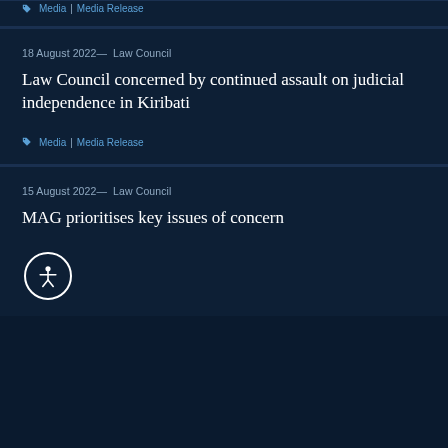Media | Media Release
18 August 2022— Law Council
Law Council concerned by continued assault on judicial independence in Kiribati
Media | Media Release
15 August 2022— Law Council
MAG prioritises key issues of concern
[Figure (illustration): Accessibility icon button - person with arms outstretched in a circle]